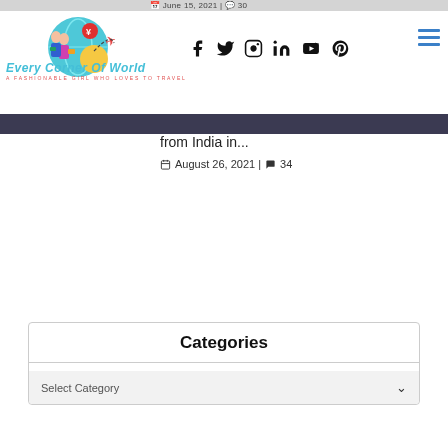[Figure (logo): Every Corner Of World travel blog logo with cartoon girl travelers and globe]
Every Corner Of World
A FASHIONABLE GIRL WHO LOVES TO TRAVEL
[Figure (other): Social media icons: Facebook, Twitter, Instagram, LinkedIn, YouTube, Pinterest]
[Figure (other): Hamburger menu icon (three horizontal lines) in blue]
from India in...
August 26, 2021 | 34
Categories
Select Category